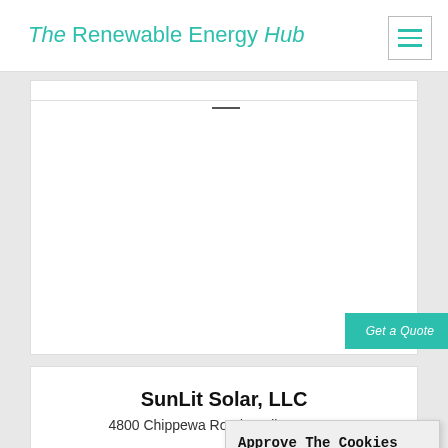The Renewable Energy Hub
[Figure (screenshot): Get a Quote button (teal/green background, white italic text)]
SunLit Solar, LLC
4800 Chippewa Road,Medina, 44256
25.8
[Figure (other): Three empty/outline star rating icons]
[Figure (screenshot): Cookie consent overlay: 'Approve The Cookies' with Accept (green) and Decline (red) buttons and Cookie policy link]